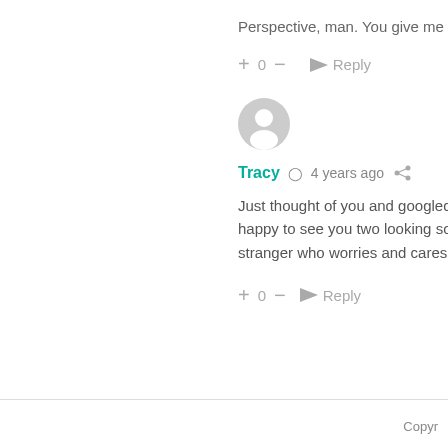Perspective, man. You give me it
+ 0 — → Reply
[Figure (illustration): Default user avatar (grey circle with person silhouette)]
Tracy  4 years ago  share
Just thought of you and googled happy to see you two looking so stranger who worries and cares a
+ 0 — → Reply
Copyr